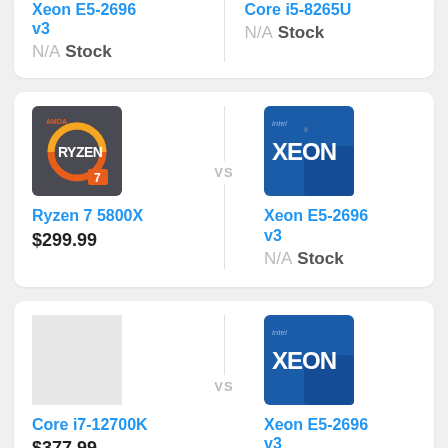Xeon E5-2696 v3 vs Core i5-8265U — N/A Stock | N/A Stock
[Figure (screenshot): AMD Ryzen 7 logo chip image]
[Figure (screenshot): Intel Xeon logo chip image]
Ryzen 7 5800X $299.99 vs Xeon E5-2696 v3 N/A Stock
[Figure (photo): Placeholder grey box for CPU image]
[Figure (screenshot): Intel Xeon logo chip image]
Core i7-12700K $377.99 vs Xeon E5-2696 v3 N/A Stock